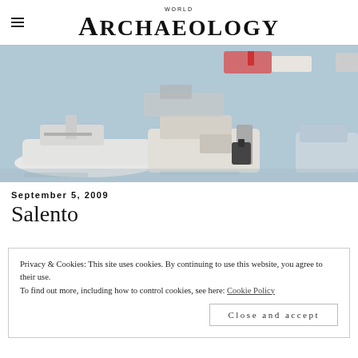WORLD ARCHAEOLOGY
[Figure (photo): Aerial or marina-level view of several motorboats and small vessels moored in a harbour with blue-grey water visible.]
September 5, 2009
Salento
Privacy & Cookies: This site uses cookies. By continuing to use this website, you agree to their use.
To find out more, including how to control cookies, see here: Cookie Policy
Close and accept